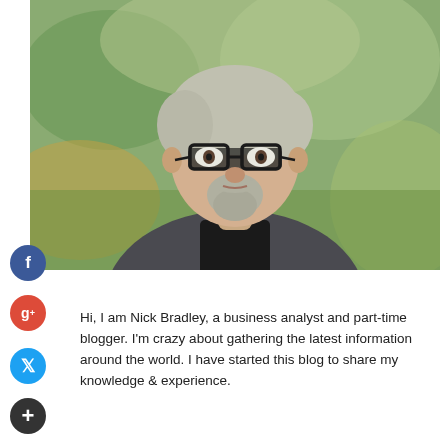[Figure (photo): Portrait photo of a middle-aged man with gray-blonde hair, glasses, goatee beard, wearing a dark blazer over a black shirt, photographed outdoors with blurred autumn foliage background.]
Hi, I am Nick Bradley, a business analyst and part-time blogger. I'm crazy about gathering the latest information around the world. I have started this blog to share my knowledge & experience.